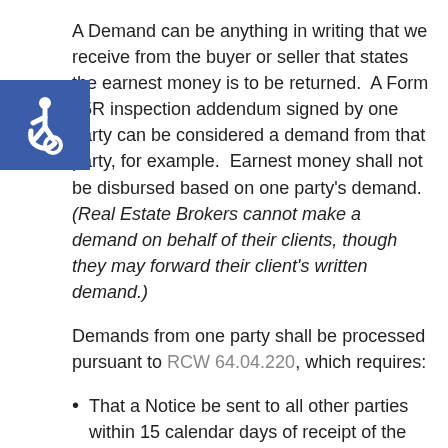A Demand can be anything in writing that we receive from the buyer or seller that states the earnest money is to be returned.  A Form 35R inspection addendum signed by one party can be considered a demand from that party, for example.  Earnest money shall not be disbursed based on one party's demand.  (Real Estate Brokers cannot make a demand on behalf of their clients, though they may forward their client's written demand.)
Demands from one party shall be processed pursuant to RCW 64.04.220, which requires:
That a Notice be sent to all other parties within 15 calendar days of receipt of the initial party's demand.
If after 20 days no agreement or objection is